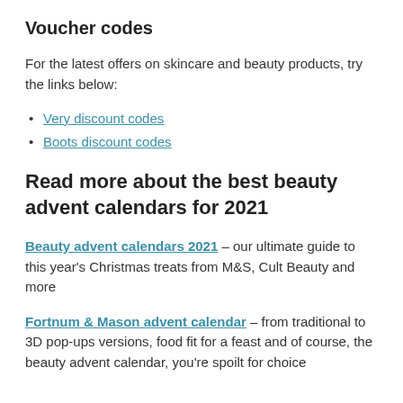Voucher codes
For the latest offers on skincare and beauty products, try the links below:
Very discount codes
Boots discount codes
Read more about the best beauty advent calendars for 2021
Beauty advent calendars 2021 – our ultimate guide to this year's Christmas treats from M&S, Cult Beauty and more
Fortnum & Mason advent calendar – from traditional to 3D pop-ups versions, food fit for a feast and of course, the beauty advent calendar, you're spoilt for choice